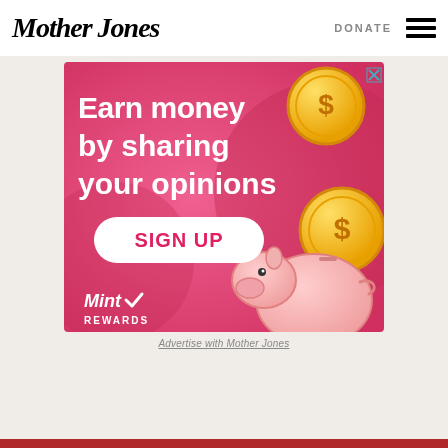Mother Jones | DONATE
[Figure (illustration): Advertisement banner with pink background showing 'Earn money by sharing your opinions' with gold coin graphics, a piggy bank illustration, a white 'SIGN UP' button, and 'Mint Rewards' branding logo]
Advertise with Mother Jones